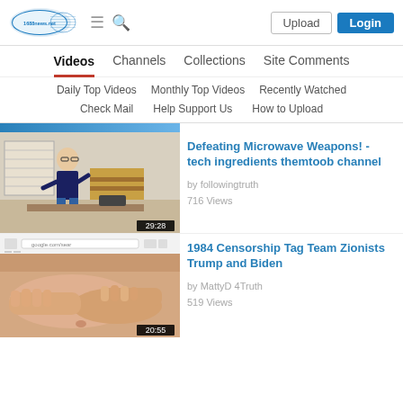[Figure (screenshot): Website header with 1688news.net logo, hamburger menu, search icon, Upload button, and Login button]
Videos | Channels | Collections | Site Comments
Daily Top Videos | Monthly Top Videos | Recently Watched
Check Mail | Help Support Us | How to Upload
[Figure (screenshot): Video thumbnail: man speaking in warehouse, duration 29:28. Title: Defeating Microwave Weapons! - tech ingredients themtoob channel, by followingtruth, 716 Views]
[Figure (screenshot): Video thumbnail: mobile screenshot of google.com/search and image of skin, duration 20:55. Title: 1984 Censorship Tag Team Zionists Trump and Biden, by MattyD 4Truth, 519 Views]